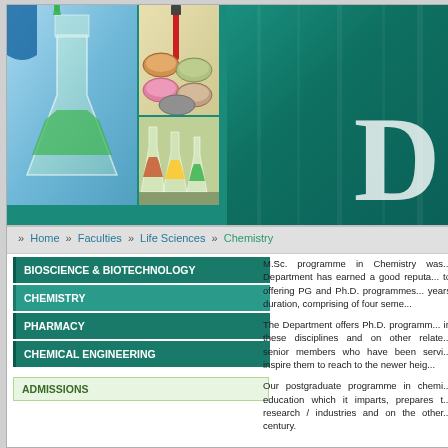[Figure (photo): University website header with laboratory photos collage (Erlenmeyer flask with green liquid, petri dishes, small lab flasks) on left and teal gradient background with partial letter 'D' visible on right]
» Home  » Faculties  » Life Sciences  » Chemistry
BIOSCIENCE & BIOTECHNOLOGY
CHEMISTRY
PHARMACY
CHEMICAL ENGINEERING
ADMISSIONS
M.Sc. programme in Chemistry was... Department has earned a good reputa... to offering PG and Ph.D. programmes... years duration, comprising of four seme...
The Department offers Ph.D. programm... in these disciplines and on other relate... senior members who have been servi... inspire them to reach to the newer heig...
Our postgraduate programme in chemi... education which it imparts, prepares t... research / industries and on the other... century.